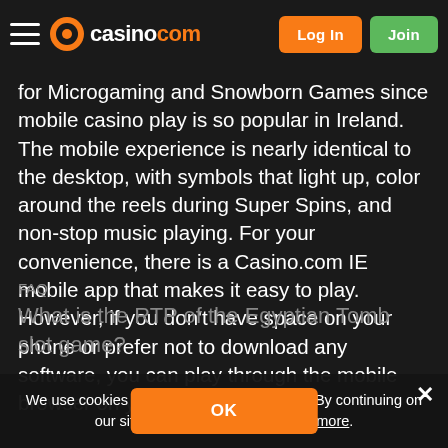casino.com — Log In | Join
for Microgaming and Snowborn Games since mobile casino play is so popular in Ireland. The mobile experience is nearly identical to the desktop, with symbols that light up, color around the reels during Super Spins, and non-stop music playing. For your convenience, there is a Casino.com IE mobile app that makes it easy to play. However, if you don't have space on your phone or prefer not to download any software, you can play through the mobile browser on your device.
We use cookies to improve your experience. By continuing on our site you consent to this – read more.
FAQ
What is the RTP of the Egyptian Tomb slot game?